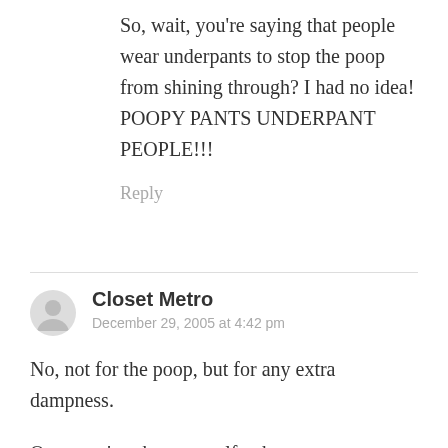So, wait, you're saying that people wear underpants to stop the poop from shining through? I had no idea! POOPY PANTS UNDERPANT PEOPLE!!!
Reply
Closet Metro
December 29, 2005 at 4:42 pm
No, not for the poop, but for any extra dampness.
Once you've shat yourself, who